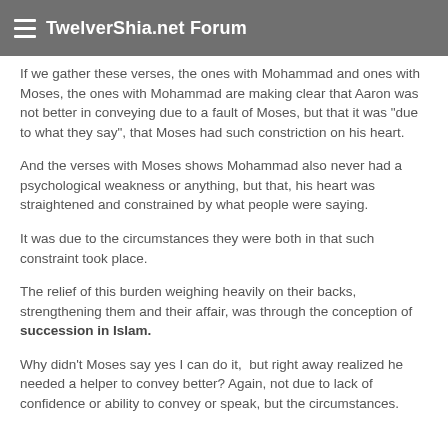TwelverShia.net Forum
If we gather these verses, the ones with Mohammad and ones with Moses, the ones with Mohammad are making clear that Aaron was not better in conveying due to a fault of Moses, but that it was "due to what they say", that Moses had such constriction on his heart.
And the verses with Moses shows Mohammad also never had a psychological weakness or anything, but that, his heart was straightened and constrained by what people were saying.
It was due to the circumstances they were both in that such constraint took place.
The relief of this burden weighing heavily on their backs, strengthening them and their affair, was through the conception of succession in Islam.
Why didn't Moses say yes I can do it,  but right away realized he needed a helper to convey better? Again, not due to lack of confidence or ability to convey or speak, but the circumstances.